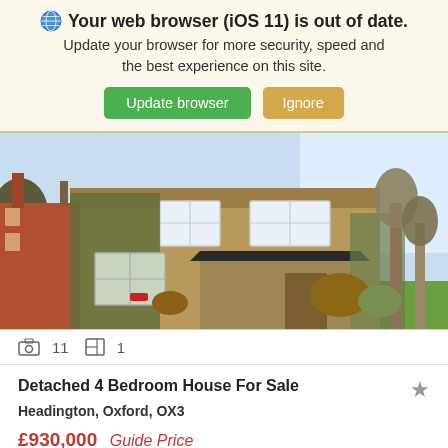Your web browser (iOS 11) is out of date. Update your browser for more security, speed and the best experience on this site. Update browser | Ignore
[Figure (photo): Exterior photo of a detached two-storey stone house with ivy-covered walls, a porch with dark canopy roof, white-framed windows, a garden with grass and bare trees, and a red brick house visible to the left.]
11  1
Detached 4 Bedroom House For Sale
Headington, Oxford, OX3
£930,000  Guide Price